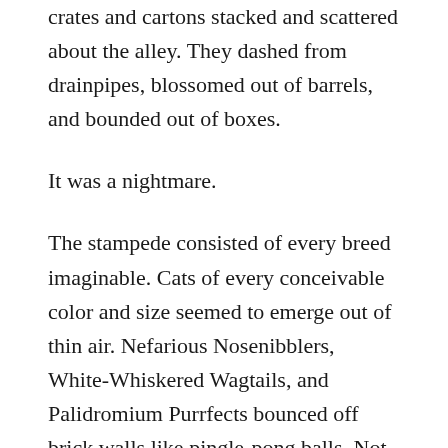crates and cartons stacked and scattered about the alley. They dashed from drainpipes, blossomed out of barrels, and bounded out of boxes.
It was a nightmare.
The stampede consisted of every breed imaginable. Cats of every conceivable color and size seemed to emerge out of thin air. Nefarious Nosenibblers, White-Whiskered Wagtails, and Palidromium Purrfects bounced off brick walls like pingle-pong balls. Not to mention two or three Stringtailed Stubbies somersaulting over his head as if in a circus act.
Hobart tried to maintain his balance, but his Hover Heels had a mind of their own and attempted to adjust